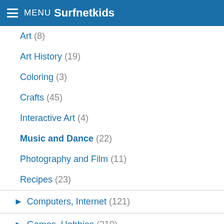MENU Surfnetkids
Art (8)
Art History (19)
Coloring (3)
Crafts (45)
Interactive Art (4)
Music and Dance (22)
Photography and Film (11)
Recipes (23)
▶ Computers, Internet (121)
▶ Games, Hobbies (210)
▶ Geography, Social Studies (202)
▶ History, Holidays (854)
▶ Language Arts, Reference (405)
▶ Math (181)